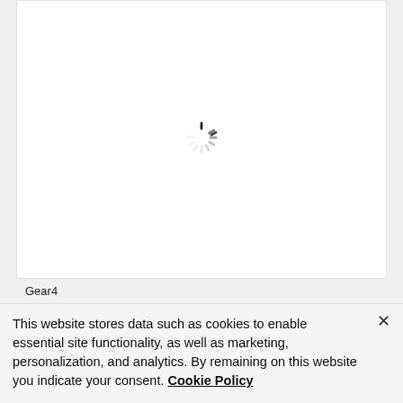[Figure (other): Loading spinner (circular dashed spinner icon) centered in white product card area]
Gear4
Battersea
This website stores data such as cookies to enable essential site functionality, as well as marketing, personalization, and analytics. By remaining on this website you indicate your consent. Cookie Policy